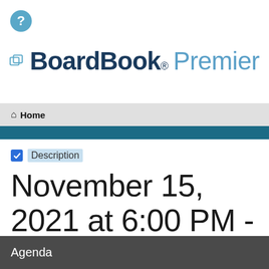[Figure (logo): Help icon — teal circle with white question mark]
[Figure (logo): BoardBook Premier logo with icon]
Home
Description
November 15, 2021 at 6:00 PM - Regular Board Meeting
Agenda